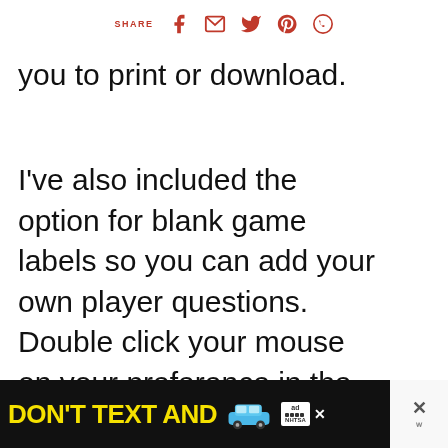SHARE [facebook] [email] [twitter] [pinterest] [whatsapp]
you to print or download.
I've also included the option for blank game labels so you can add your own player questions. Double click your mouse on your preference in the links below for your unwatermarked printable.
[Figure (other): Heart/like button (red circle with heart icon), count 2, share button]
[Figure (other): What's Next panel: image thumbnail and text 'Christmas Scrapbook...']
[Figure (other): Game label buttons: Favorite Christmas Drink?, Favorite Christmas Food?, Favorite Christmas Dessert?]
[Figure (other): Ad banner: DON'T TEXT AND [car image] ad NHTSA logo]